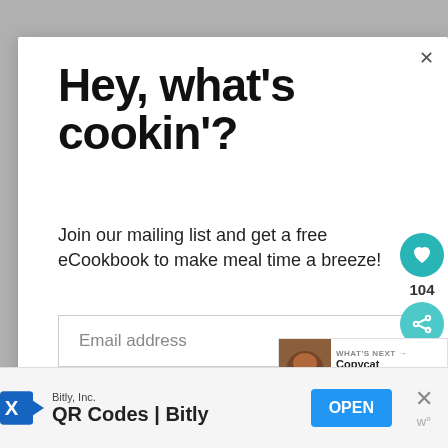Hey, what's cookin'?
Join our mailing list and get a free eCookbook to make meal time a breeze!
Email address
Subscribe
104
WHAT'S NEXT → Copycat Starbucks...
Bitly, Inc.
QR Codes | Bitly
OPEN